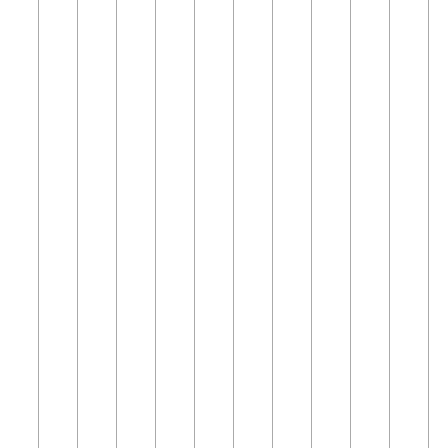Related Topics: TWikiPreferences...
Copy file TWiki/Plugins... plugin.
Copy this topic to <name>...
See details in TWikiPlug...
Changed:
-- PeterThoeny - 13 Mar 2001
Syntax Rules
(none)
EmptyPlugin Prefer...
Plugin preferences are stored ... write %<plugin name>_<prefere...
One line description is...